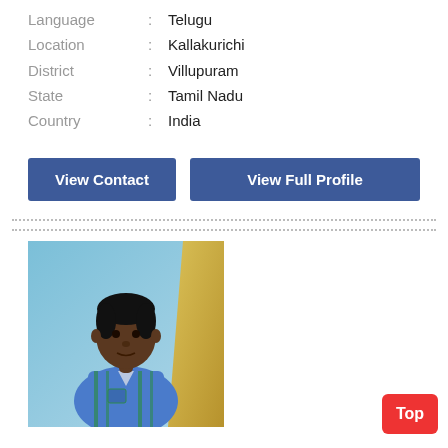Language : Telugu
Location : Kallakurichi
District : Villupuram
State : Tamil Nadu
Country : India
View Contact
View Full Profile
[Figure (photo): Portrait photo of a young man wearing a blue and green plaid shirt, standing against a blue background with a gold/yellow curtain visible on the right side.]
Top